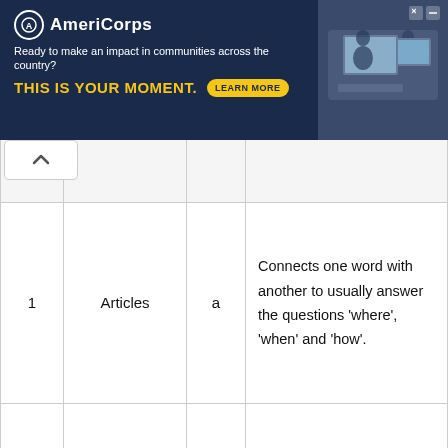[Figure (other): AmeriCorps advertisement banner. Logo with circle A, brand name AmeriCorps. Tagline: Ready to make an impact in communities across the country? THIS IS YOUR MOMENT. LEARN MORE button. Photo of students at computers on right side.]
|  |  |  |  |
| --- | --- | --- | --- |
| 1 | Articles | a | Connects one word with another to usually answer the questions 'where', 'when' and 'how'. |
| 2 | Conjunctions | b | Expresses strong emotions, such as happiness, surprise, anger or pain |
|  |  |  | Joins two nouns, |